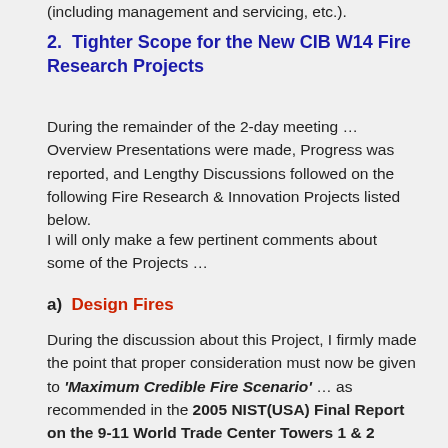(including management and servicing, etc.).
2.  Tighter Scope for the New CIB W14 Fire Research Projects
During the remainder of the 2-day meeting … Overview Presentations were made, Progress was reported, and Lengthy Discussions followed on the following Fire Research & Innovation Projects listed below.
I will only make a few pertinent comments about some of the Projects …
a)  Design Fires
During the discussion about this Project, I firmly made the point that proper consideration must now be given to 'Maximum Credible Fire Scenario' … as recommended in the 2005 NIST(USA) Final Report on the 9-11 World Trade Center Towers 1 & 2 Collapses.  See Footnote 26, on Page 208 of the 2005 Report, for the definition of this concept.